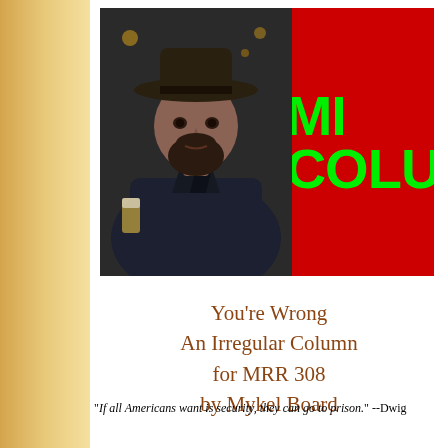[Figure (photo): Header banner with photo of a man wearing a hat on red background with green text reading 'MY COLUMN' (partially visible)]
You're Wrong
An Irregular Column
for MRR 308
by Mykel Board
"If all Americans want is security, they can go to prison." --Dwight Eisenhower
Recap: I'm on the plane leaving Port of Spain, Trinidad for Caracas. It's been a paradise of spicy food, Stag beer, great new friends, Trinidad to call home, and a kind of English that oozes Jamaican, Indian...
It's been my best first week ever in a country I didn't get laid in. I can drink outside, smoke inside, say hello to street-walking trannie hookers for anything.
The locals, however, warned me. It's dangerous. There's a high...